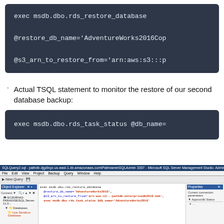[Figure (screenshot): Dark code block showing SQL command: exec msdb.dbo.rds_restore_database followed by @restore_db_name='AdventureWorks2016Cop and @s3_arn_to_restore_from='arn:aws:s3:::p]
Actual TSQL statement to monitor the restore of our second database backup:
[Figure (screenshot): Dark code block showing SQL command: exec msdb.dbo.rds_task_status @db_name=]
[Figure (screenshot): Screenshot of Microsoft SQL Server Management Studio showing the rds_restore_database query with AdventureWorks2016 database name and S3 ARN parameters highlighted in the query editor, with Object Explorer on left and Properties panel on right.]